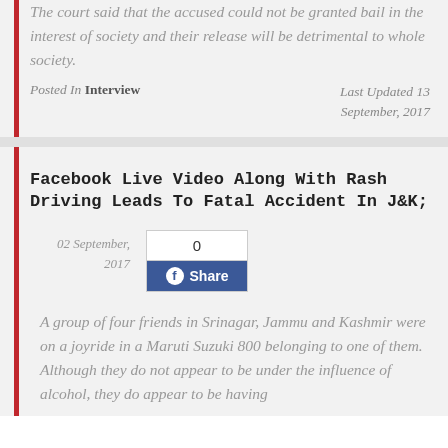The court said that the accused could not be granted bail in the interest of society and their release will be detrimental to whole society.
Posted In Interview   Last Updated 13 September, 2017
Facebook Live Video Along With Rash Driving Leads To Fatal Accident In J&K;
02 September, 2017
[Figure (other): Facebook share widget showing 0 shares with a blue Share button]
A group of four friends in Srinagar, Jammu and Kashmir were on a joyride in a Maruti Suzuki 800 belonging to one of them. Although they do not appear to be under the influence of alcohol, they do appear to be having fun. More on that later. The reckless li...